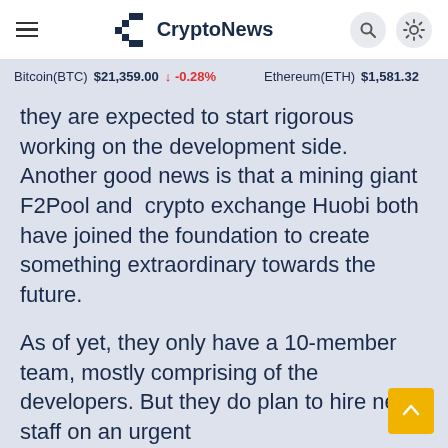CryptoNews
Bitcoin(BTC) $21,359.00 ↓ -0.28%   Ethereum(ETH) $1,581.32
they are expected to start rigorous working on the development side. Another good news is that a mining giant F2Pool and  crypto exchange Huobi both have joined the foundation to create something extraordinary towards the future.

As of yet, they only have a 10-member team, mostly comprising of the developers. But they do plan to hire new staff on an urgent